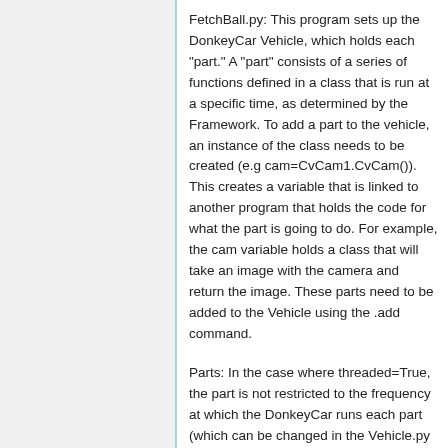FetchBall.py: This program sets up the DonkeyCar Vehicle, which holds each "part." A "part" consists of a series of functions defined in a class that is run at a specific time, as determined by the Framework. To add a part to the vehicle, an instance of the class needs to be created (e.g cam=CvCam1.CvCam()). This creates a variable that is linked to another program that holds the code for what the part is going to do. For example, the cam variable holds a class that will take an image with the camera and return the image. These parts need to be added to the Vehicle using the .add command.
Parts: In the case where threaded=True, the part is not restricted to the frequency at which the DonkeyCar runs each part (which can be changed in the Vehicle.py